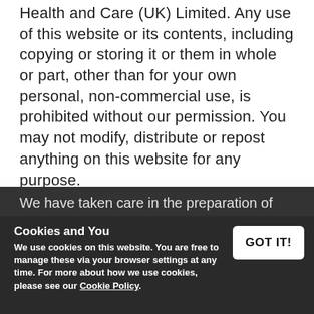Health and Care (UK) Limited. Any use of this website or its contents, including copying or storing it or them in whole or part, other than for your own personal, non-commercial use, is prohibited without our permission. You may not modify, distribute or repost anything on this website for any purpose.
4. Accuracy of content
We have taken care in the preparation of the content of this website, in particular to ensure that the content of this website are correct at the time of publishing and that all
Cookies and You
We use cookies on this website. You are free to manage these via your browser settings at any time. For more about how we use cookies, please see our Cookie Policy.